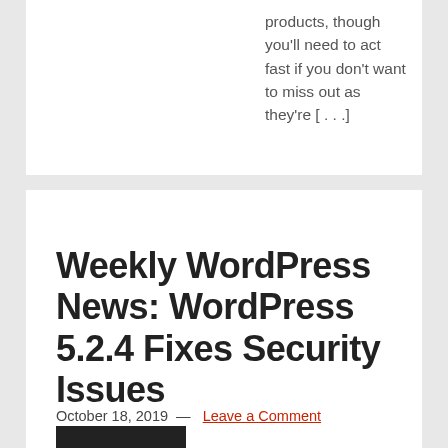products, though you'll need to act fast if you don't want to miss out as they're [...]
Weekly WordPress News: WordPress 5.2.4 Fixes Security Issues
October 18, 2019 — Leave a Comment